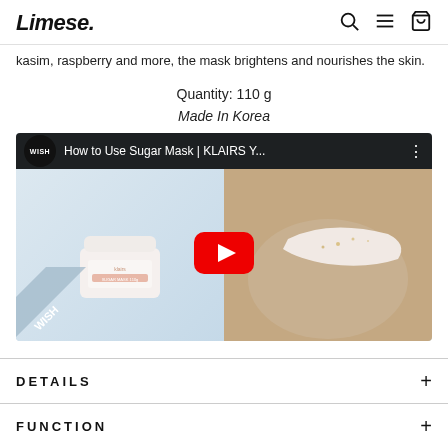Limese.
kasim, raspberry and more, the mask brightens and nourishes the skin.
Quantity: 110 g
Made In Korea
[Figure (screenshot): YouTube video thumbnail showing 'How to Use Sugar Mask | KLAIRS Y...' with WISH channel logo, product jar on left and cream on hand on right, with red YouTube play button in center]
DETAILS
FUNCTION